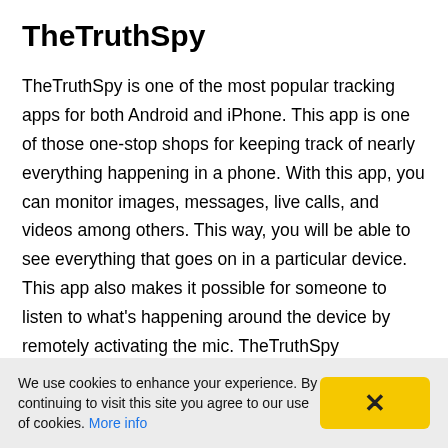TheTruthSpy
TheTruthSpy is one of the most popular tracking apps for both Android and iPhone. This app is one of those one-stop shops for keeping track of nearly everything happening in a phone. With this app, you can monitor images, messages, live calls, and videos among others. This way, you will be able to see everything that goes on in a particular device. This app also makes it possible for someone to listen to what's happening around the device by remotely activating the mic. TheTruthSpy
We use cookies to enhance your experience. By continuing to visit this site you agree to our use of cookies. More info